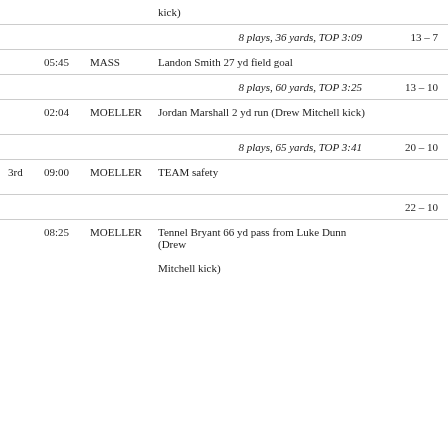kick)
8 plays, 36 yards, TOP 3:09   13 – 7
05:45  MASS  Landon Smith 27 yd field goal
8 plays, 60 yards, TOP 3:25   13 – 10
02:04  MOELLER  Jordan Marshall 2 yd run (Drew Mitchell kick)
8 plays, 65 yards, TOP 3:41   20 – 10
3rd  09:00  MOELLER  TEAM safety
22 – 10
08:25  MOELLER  Tennel Bryant 66 yd pass from Luke Dunn (Drew Mitchell kick)